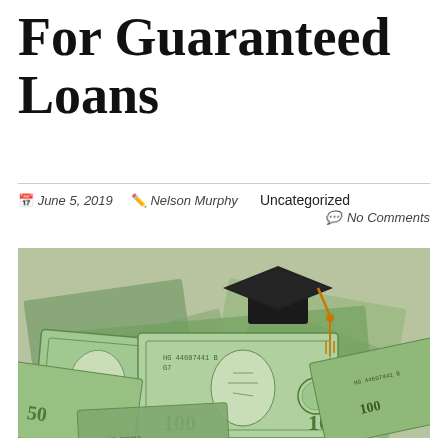For Guaranteed Loans
June 5, 2019   Nelson Murphy   Uncategorized   No Comments
[Figure (photo): A graduation cap (mortarboard) with orange tassel sitting on top of a pile of US dollar bills (mostly $100 bills), symbolizing student loans or education financing.]